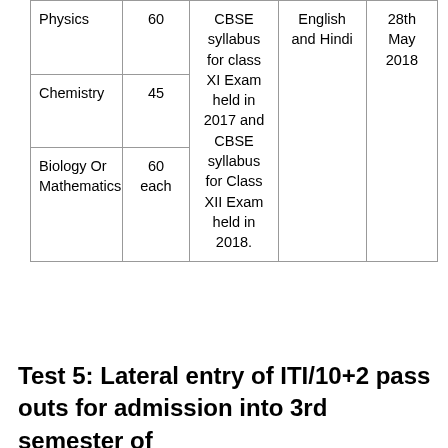| Physics | 60 | CBSE syllabus for class XI Exam held in 2017 and CBSE syllabus for Class XII Exam held in 2018. | English and Hindi | 28th May 2018 |
| Chemistry | 45 |  |  |  |
| Biology Or Mathematics | 60 each |  |  |  |
Test 5: Lateral entry of ITI/10+2 pass outs for admission into 3rd semester of